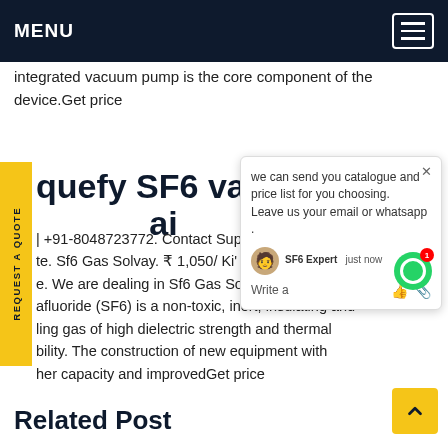MENU
integrated vacuum pump is the core component of the device.Get price
REQUEST A QUOTE
quefy SF6 valve (...) ai
| +91-8048723772. Contact Supp... d... te. Sf6 Gas Solvay. ₹ 1,050/ Ki'... r... st e. We are dealing in Sf6 Gas Solv... afluoride (SF6) is a non-toxic, inert, insulating and ling gas of high dielectric strength and thermal bility. The construction of new equipment with her capacity and improvedGet price
we can send you catalogue and price list for you choosing.
Leave us your email or whatsapp .
SF6 Expert   just now
Write a
Related Post